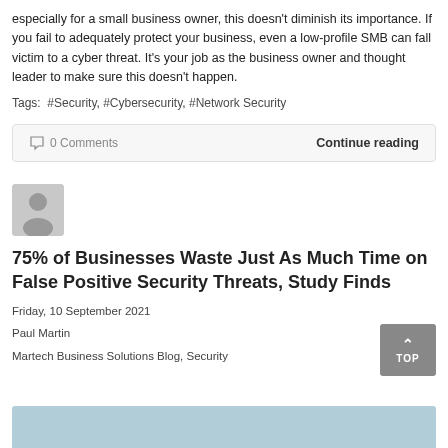especially for a small business owner, this doesn't diminish its importance. If you fail to adequately protect your business, even a low-profile SMB can fall victim to a cyber threat. It's your job as the business owner and thought leader to make sure this doesn't happen.
Tags: #Security, #Cybersecurity, #Network Security
0 Comments    Continue reading
[Figure (illustration): Generic user avatar placeholder icon]
75% of Businesses Waste Just As Much Time on False Positive Security Threats, Study Finds
Friday, 10 September 2021
Paul Martin
Martech Business Solutions Blog, Security
[Figure (photo): Partial blue-toned image at bottom of page]